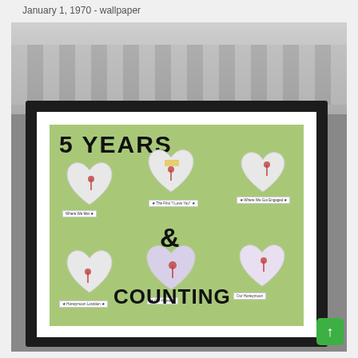January 1, 1970 - wallpaper
[Figure (photo): A framed artwork on a green background showing 6 heart-shaped map cutouts arranged in a grid. The text reads '5 YEARS & COUNTING'. Each heart has a small label tag beneath it. The frame is black with a white mat. The photo is taken at an angle showing a sofa in the background.]